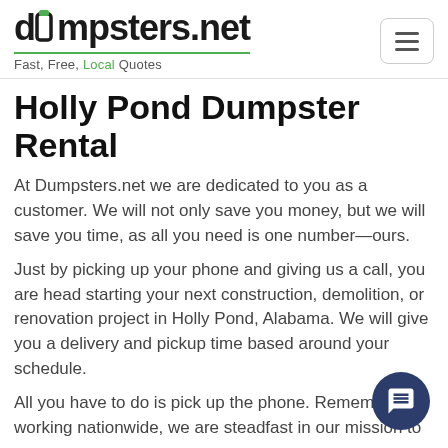dumpsters.net — Fast, Free, Local Quotes
Holly Pond Dumpster Rental
At Dumpsters.net we are dedicated to you as a customer. We will not only save you money, but we will save you time, as all you need is one number—ours.
Just by picking up your phone and giving us a call, you are head starting your next construction, demolition, or renovation project in Holly Pond, Alabama. We will give you a delivery and pickup time based around your schedule.
All you have to do is pick up the phone. Remember working nationwide, we are steadfast in our mission to